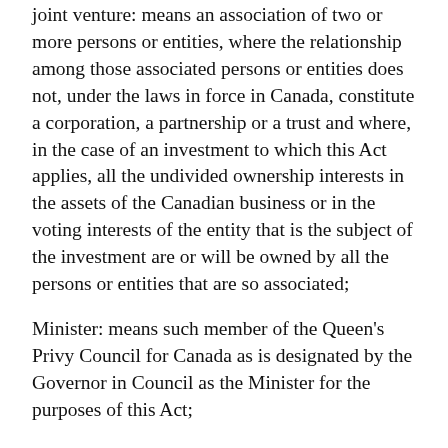joint venture: means an association of two or more persons or entities, where the relationship among those associated persons or entities does not, under the laws in force in Canada, constitute a corporation, a partnership or a trust and where, in the case of an investment to which this Act applies, all the undivided ownership interests in the assets of the Canadian business or in the voting interests of the entity that is the subject of the investment are or will be owned by all the persons or entities that are so associated;
Minister: means such member of the Queen's Privy Council for Canada as is designated by the Governor in Council as the Minister for the purposes of this Act;
new Canadian business: in relation to a non-Canadian, means a business that is not already being carried on in Canada by the non-Canadian and that, at the time of its establishment...